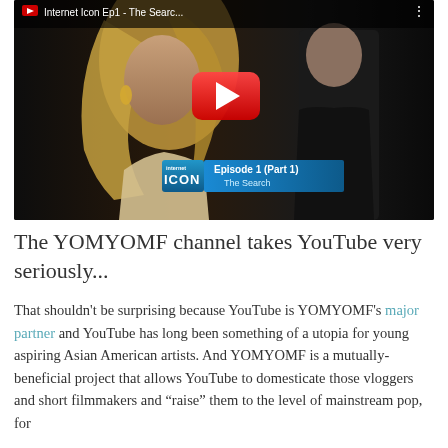[Figure (screenshot): YouTube video thumbnail showing 'Internet Icon Ep1 - The Searc...' with two people (a blonde woman and a man in dark clothing), a red YouTube play button overlay, and an episode badge reading 'Episode 1 (Part 1) The Search' with an Internet Icon logo.]
The YOMYOMF channel takes YouTube very seriously...
That shouldn't be surprising because YouTube is YOMYOMF's major partner and YouTube has long been something of a utopia for young aspiring Asian American artists. And YOMYOMF is a mutually-beneficial project that allows YouTube to domesticate those vloggers and short filmmakers and "raise" them to the level of mainstream pop, for